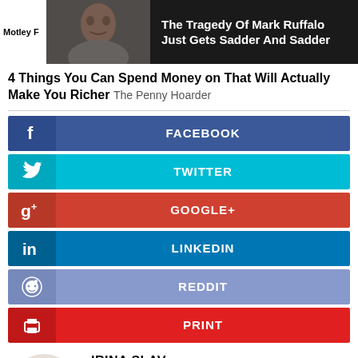[Figure (photo): Advertisement banner: photo of Mark Ruffalo on dark background with text 'The Tragedy Of Mark Ruffalo Just Gets Sadder And Sadder' and 'Motley F...' logo]
4 Things You Can Spend Money on That Will Actually Make You Richer  The Penny Hoarder
FACEBOOK
TWITTER
GOOGLE+
LINKEDIN
REDDIT
PRINT
[Figure (photo): Circular headshot photo of Irina Slav, a woman with dark hair]
IRINA SLAV
Irina is a writer for Oilprice.com with over a decade of experience writing